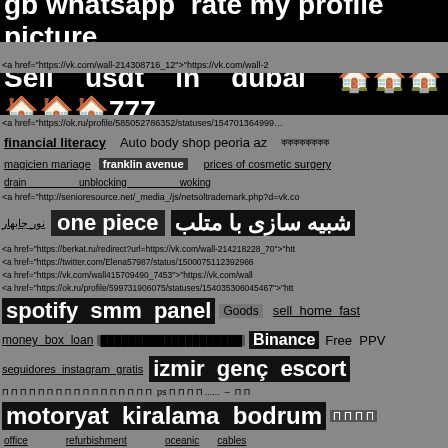data protection Differential transmission repair phoenit
gb whatsapp rate my profile picture
<a href="https://vk.com/wall-214308716_12">"https://vk.com/wall-2
Sell usdt in dubai 🏠🏠🏠🏠🏠🏠777
<a href="https://ok.ru/profile/585052786352/statuses/154701364995
financial literacy  Auto body shop peoria az  কককককককক
magicien mariage  franklin avenue  prices of cosmetic surgery
drain           unblocking           woking
<a href="http://senioresource.net/_media_/js/netsoltrademark.php?d=vk.co
نور جابهار  one piece  شبیه سازی با متلب
<a href="https://berkat.ru/redirect?url=https://vk.com/wall-214218228_70">"htt
<a href="https://twitter.com/Elena57987/status/1500075112392966
<a href="https://vk.com/wall415709490_7453">"https://vk.com/wall
<a href="https://ok.ru/profile/599731906075/statuses/154035306045467">"htt
spotify smm panel  Goods  sell home fast
money box loan  ████████████████████  Binance  Free PPV
seguidores instagram gratis  izmir genç escort
П П П П П П П П П П П П П П П П П  ps П П П П ......  –  П П
motoryat kiralama bodrum  П П П П
office  refurbishment  oceanic  cables
<a href="https://vk.com/id193638300?w=wall193638300_9579">"https://vk.co
Gb  whastapp  apk